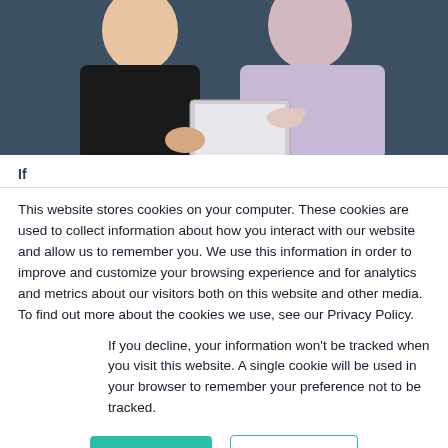[Figure (photo): Two people looking at a tablet/document together. One person wears a black top, the other a light purple hoodie. Background is dark blue-grey.]
If
This website stores cookies on your computer. These cookies are used to collect information about how you interact with our website and allow us to remember you. We use this information in order to improve and customize your browsing experience and for analytics and metrics about our visitors both on this website and other media. To find out more about the cookies we use, see our Privacy Policy.
If you decline, your information won't be tracked when you visit this website. A single cookie will be used in your browser to remember your preference not to be tracked.